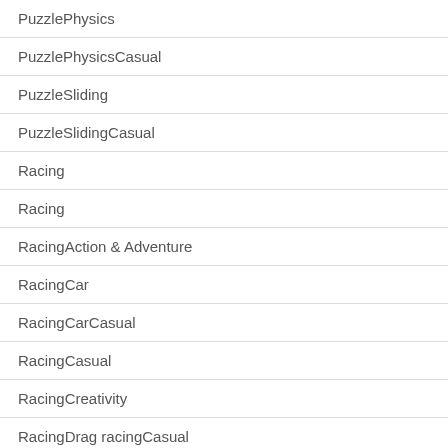| PuzzlePhysics |
| PuzzlePhysicsCasual |
| PuzzleSliding |
| PuzzleSlidingCasual |
| Racing |
| Racing |
| RacingAction & Adventure |
| RacingCar |
| RacingCarCasual |
| RacingCasual |
| RacingCreativity |
| RacingDrag racingCasual |
| RacingKart |